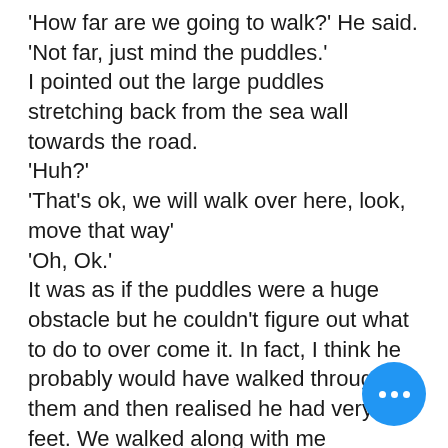'How far are we going to walk?' He said.
'Not far, just mind the puddles.'
I pointed out the large puddles stretching back from the sea wall towards the road.
'Huh?'
'That's ok, we will walk over here, look, move that way'
'Oh, Ok.'
It was as if the puddles were a huge obstacle but he couldn't figure out what to do to over come it. In fact, I think he probably would have walked through them and then realised he had very wet feet. We walked along with me explaining what a stag night was – there we few taxes laden with men in hats